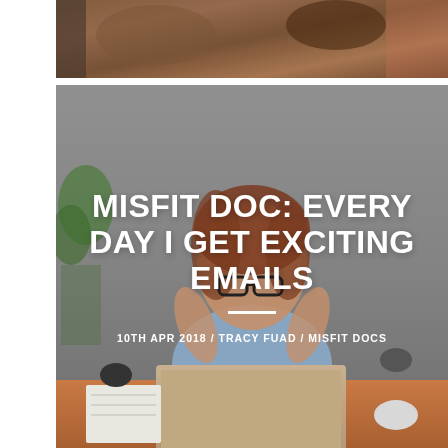[Figure (photo): Top partial image strip showing a blurred warm-toned background with browns and earth tones, partially visible at the very top of the page.]
[Figure (photo): Main featured blog post image: a woman with glasses and red/auburn hair sitting at a desk with a laptop, looking surprised or excited with her hands raised near her face. There is a plant in the background. The image has an overlay with white bold text reading 'MISFIT DOC: EVERY DAY I GET EXCITING EMAILS' and metadata '10TH APR 2018 / TRACY FUAD / MISFIT DOCS'.]
MISFIT DOC: EVERY DAY I GET EXCITING EMAILS
10TH APR 2018 / TRACY FUAD / MISFIT DOCS